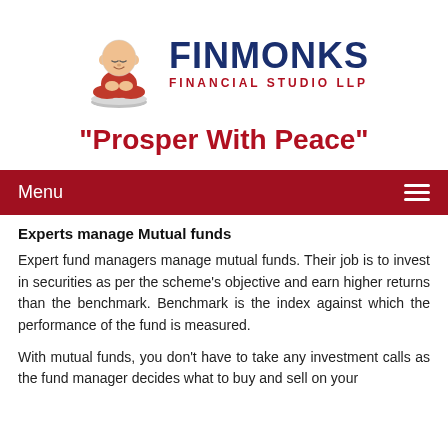[Figure (logo): FinMonks Financial Studio LLP logo with cartoon monk mascot sitting on a coin, company name in navy blue and red]
"Prosper With Peace"
Experts manage Mutual funds
Expert fund managers manage mutual funds. Their job is to invest in securities as per the scheme's objective and earn higher returns than the benchmark. Benchmark is the index against which the performance of the fund is measured.
With mutual funds, you don't have to take any investment calls as the fund manager decides what to buy and sell on your